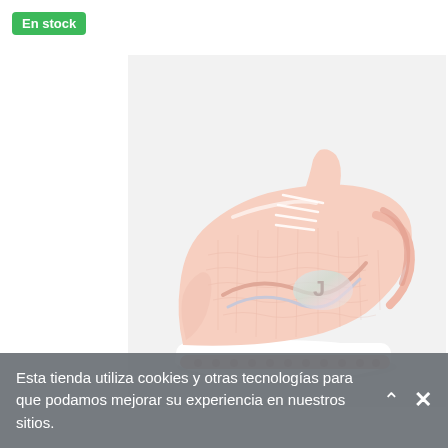En stock
[Figure (photo): A pink/peach running sneaker (Joma brand) shown in profile view on a light grey background. The shoe features mesh upper, white midsole, and pink outsole.]
Esta tienda utiliza cookies y otras tecnologías para que podamos mejorar su experiencia en nuestros sitios.